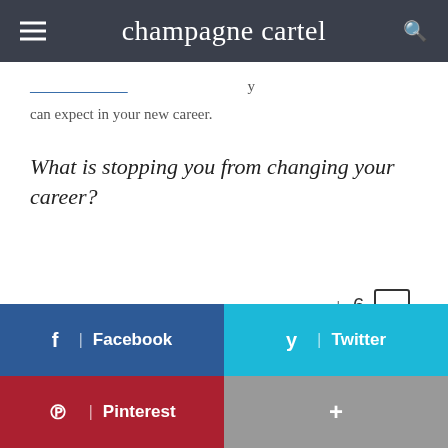champagne cartel
can expect in your new career.
What is stopping you from changing your career?
↓ 6 [comment icon]
[Figure (screenshot): Social share buttons: Facebook (blue), Twitter (cyan), Pinterest (red), More (gray with plus sign)]